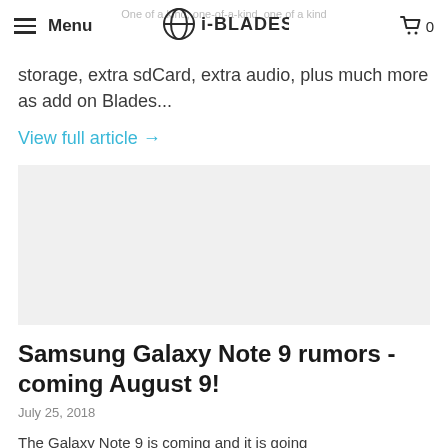Menu | i-BLADES | 0
storage, extra sdCard, extra audio, plus much more as add on Blades...
View full article →
[Figure (photo): Gray placeholder image rectangle]
Samsung Galaxy Note 9 rumors - coming August 9!
July 25, 2018
The Galaxy Note 9 is coming and it is going